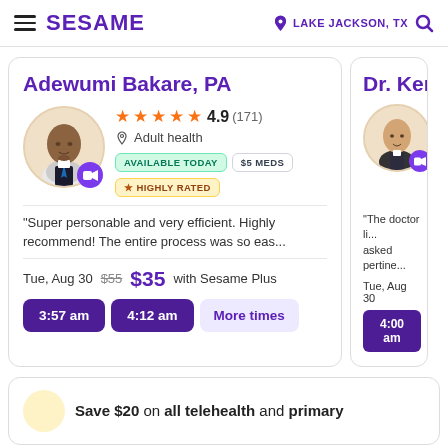SESAME  LAKE JACKSON, TX
Adewumi Bakare, PA
4.9 (171) Adult health AVAILABLE TODAY $5 MEDS HIGHLY RATED
"Super personable and very efficient. Highly recommend! The entire process was so eas...
Tue, Aug 30  $55  $35 with Sesame Plus
3:57 am  4:12 am  More times
Dr. Kero
"The doctor li... asked pertine...
Tue, Aug 30  4:00 am
Save $20 on all telehealth and primary